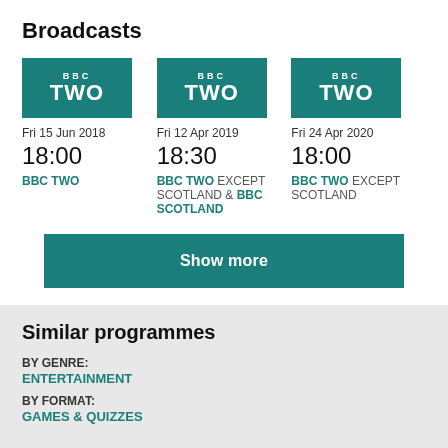Broadcasts
[Figure (logo): BBC TWO logo – teal background, white text]
Fri 15 Jun 2018
18:00
BBC TWO
[Figure (logo): BBC TWO logo – teal background, white text]
Fri 12 Apr 2019
18:30
BBC TWO EXCEPT SCOTLAND & BBC SCOTLAND
[Figure (logo): BBC TWO logo – teal background, white text]
Fri 24 Apr 2020
18:00
BBC TWO EXCEPT SCOTLAND
Show more
Similar programmes
BY GENRE:
ENTERTAINMENT
BY FORMAT:
GAMES & QUIZZES